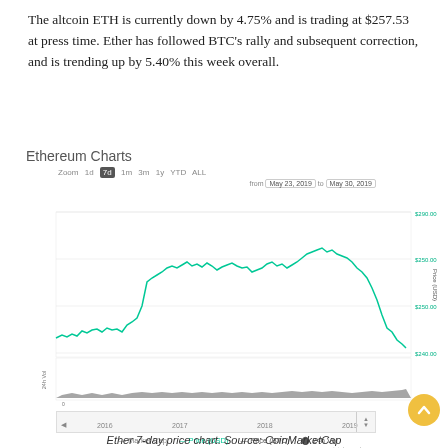The altcoin ETH is currently down by 4.75% and is trading at $257.53 at press time. Ether has followed BTC's rally and subsequent correction, and is trending up by 5.40% this week overall.
Ethereum Charts
[Figure (continuous-plot): Line chart showing Ethereum price in USD from May 23, 2019 to May 30, 2019. Price rises sharply from ~$245 around May 23 to a peak near $290 around May 29, then drops sharply back to ~$240 on May 30. A 24h volume bar chart is shown below the price chart. A timeline bar below shows the full history from 2016 to 2019.]
Ether 7-day price chart. Source: CoinMarketCap